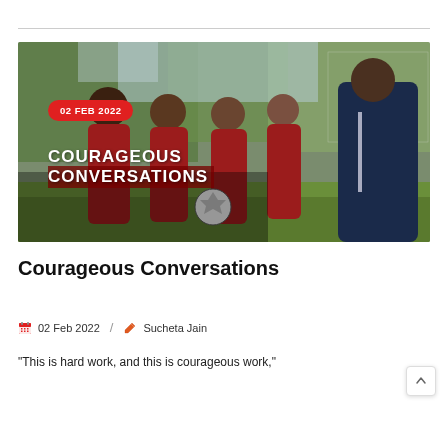[Figure (photo): A group of soccer players in dark red uniforms huddle together on a field, listening to a coach in a dark hoodie. A soccer ball is visible in the group. Trees and a goal net are visible in the background. The image has a date badge '02 FEB 2022' in the top-left corner and text overlay 'COURAGEOUS CONVERSATIONS' in the lower-left.]
Courageous Conversations
02 Feb 2022   Sucheta Jain
"This is hard work, and this is courageous work,"